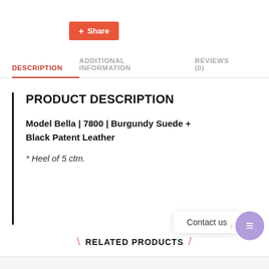[Figure (other): Orange/red Share button with plus icon]
DESCRIPTION  ADDITIONAL INFORMATION  REVIEWS (0)
PRODUCT DESCRIPTION
Model Bella | 7800 | Burgundy Suede + Black Patent Leather
* Heel of 5 ctm.
RELATED PRODUCTS
[Figure (other): Contact us chat popup with purple circle chat icon]